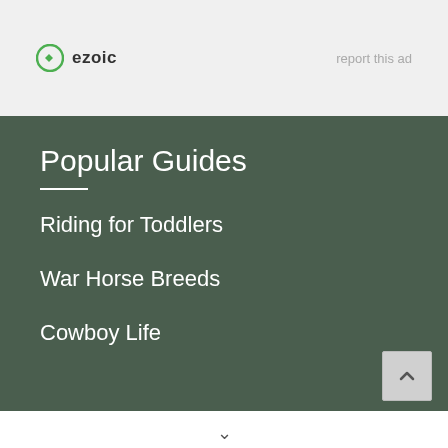[Figure (logo): Ezoic logo with green circle icon and text 'ezoic']
report this ad
Popular Guides
Riding for Toddlers
War Horse Breeds
Cowboy Life